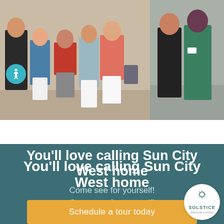[Figure (photo): Group of people standing together outdoors for a photo, left panel of a two-photo carousel]
[Figure (photo): Two women standing together, one in black jacket and one in green outfit with a name tag, right panel of a two-photo carousel]
You’ll love calling Sun City West home
Come see for yourself!
Schedule a tour today
[Figure (logo): Solstice Senior Living logo in a white circle, bottom right corner]